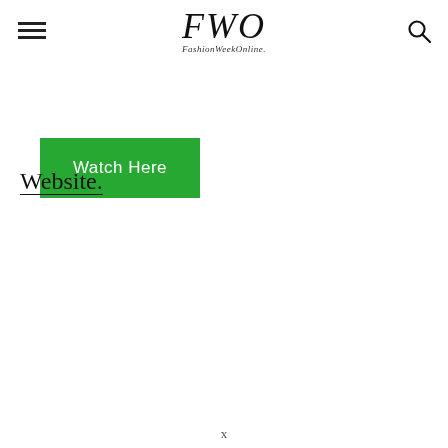FWO FashionWeekOnline.
[Figure (logo): FWO FashionWeekOnline logo in italic serif font with tagline below]
Watch Here
Website.